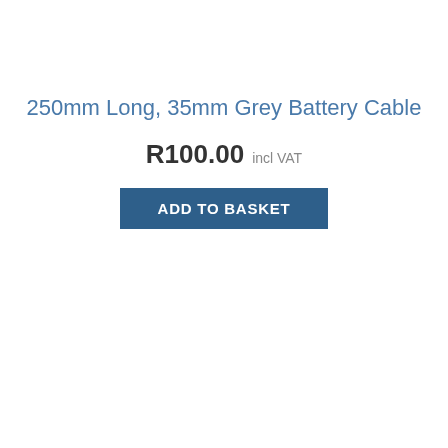250mm Long, 35mm Grey Battery Cable
R100.00 incl VAT
ADD TO BASKET